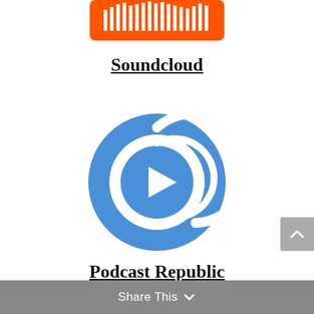[Figure (logo): SoundCloud logo - orange rectangular badge with waveform/cloud silhouette in white]
Soundcloud
[Figure (logo): Podcast Republic logo - blue circle with a stylized C-shape arc and a white play button triangle in the center]
Podcast Republic
Share This